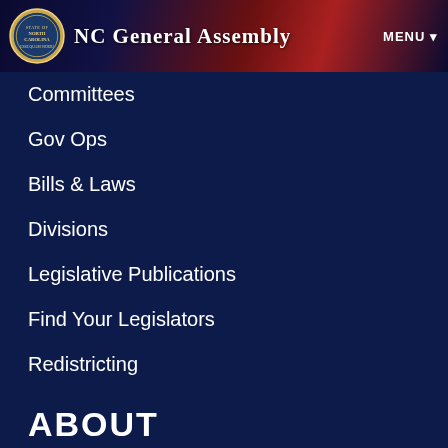NC General Assembly  MENU
Committees
Gov Ops
Bills & Laws
Divisions
Legislative Publications
Find Your Legislators
Redistricting
ABOUT
About the NCGA
Contact Info
Visitor Info
Careers
Help
News